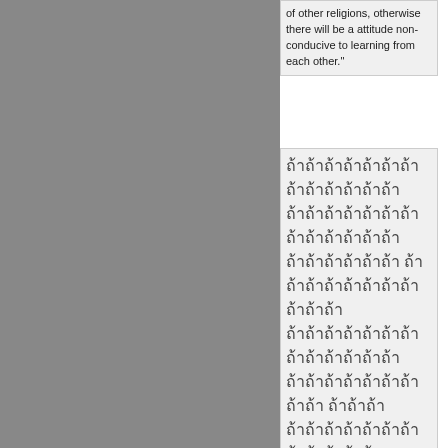of other religions, otherwise there will be a attitude non-conducive to learning from each other."
Thai script block with romanization: meuuaF ratH thaL baanM leuuakF theeF jaL duuM laaeM khohnM theeF meeM khwaamM sookL gaawnL gaawF bpenM reuuangF theeF thamM haiF khohnM theeF cheeM witH meeM khwaamM thookH geertL khwaamM naawyH neuuaH dtamL jaiM daiF
"When the government